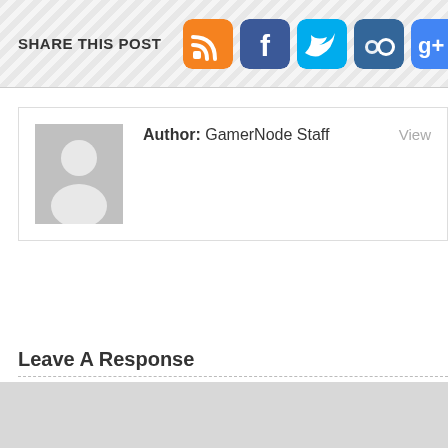SHARE THIS POST
[Figure (infographic): Social media sharing icons: RSS (orange), Facebook (dark blue), Twitter (light blue), MySpace (dark blue), Google+ (blue), Reddit (grey/red), StumbleUpon (green)]
Author: GamerNode Staff
View
[Figure (photo): Default grey avatar silhouette placeholder image]
Leave A Response
You must be logged in to post a comment.